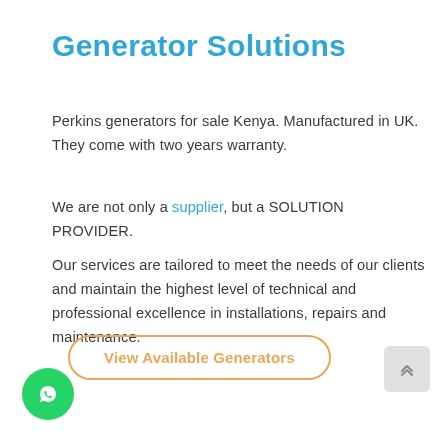Generator Solutions
Perkins generators for sale Kenya. Manufactured in UK. They come with two years warranty.
We are not only a supplier, but a SOLUTION PROVIDER.
Our services are tailored to meet the needs of our clients and maintain the highest level of technical and professional excellence in installations, repairs and maintenance.
View Available Generators